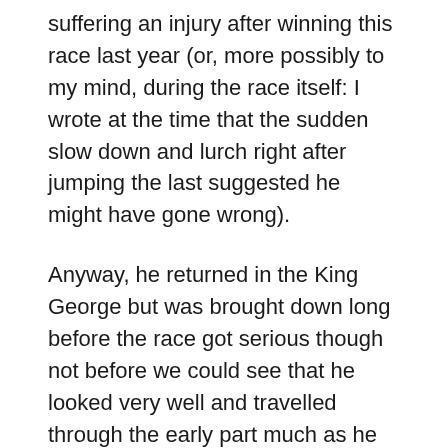suffering an injury after winning this race last year (or, more possibly to my mind, during the race itself: I wrote at the time that the sudden slow down and lurch right after jumping the last suggested he might have gone wrong).
Anyway, he returned in the King George but was brought down long before the race got serious though not before we could see that he looked very well and travelled through the early part much as he had done before his layoff.  He will be very hard to beat here and if he does run – there are two drying days forecast and his trainer has said she will not run him on good ground; it's currently good to soft – he will take some beating. I'll have a third of my stake on him if he turns up.